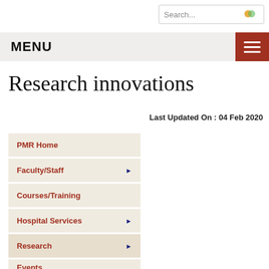Search...
MENU
Research innovations
Last Updated On : 04 Feb 2020
PMR Home
Faculty/Staff
Courses/Training
Hospital Services
Research
Events
Awards